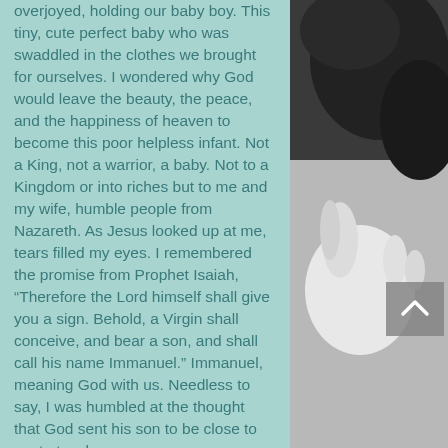overjoyed, holding our baby boy. This tiny, cute perfect baby who was swaddled in the clothes we brought for ourselves. I wondered why God would leave the beauty, the peace, and the happiness of heaven to become this poor helpless infant. Not a King, not a warrior, a baby. Not to a Kingdom or into riches but to me and my wife, humble people from Nazareth. As Jesus looked up at me, tears filled my eyes. I remembered the promise from Prophet Isaiah, “Therefore the Lord himself shall give you a sign. Behold, a Virgin shall conceive, and bear a son, and shall call his name Immanuel.” Immanuel, meaning God with us. Needless to say, I was humbled at the thought that God sent his son to be close to us, to touch
[Figure (photo): Black and white photo of a baby's hand and face, partially visible on the right side of the page]